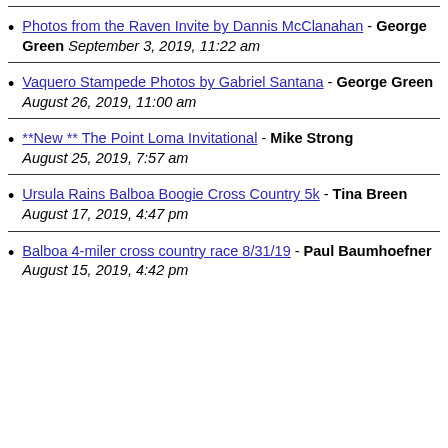Photos from the Raven Invite by Dannis McClanahan - George Green September 3, 2019, 11:22 am
Vaquero Stampede Photos by Gabriel Santana - George Green August 26, 2019, 11:00 am
**New ** The Point Loma Invitational - Mike Strong August 25, 2019, 7:57 am
Ursula Rains Balboa Boogie Cross Country 5k - Tina Breen August 17, 2019, 4:47 pm
Balboa 4-miler cross country race 8/31/19 - Paul Baumhoefner August 15, 2019, 4:42 pm